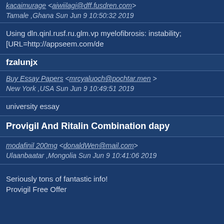kacaimurage <aiwiilagi@dff.fusdren.com>
Tamale ,Ghana Sun Jun 9 10:50:32 2019
Using dln.qinl.rusf.ru.glm.vp myelofibrosis: instability;
[URL=http://appseem.com/de
fzalunjx
Buy Essay Papers <mrcyaluoch@pochtar.men >
New York ,USA Sun Jun 9 10:49:51 2019
university essay
Provigil And Ritalin Combination dapy
modafinil 200mg <donaldWen@mail.com>
Ulaanbaatar ,Mongolia Sun Jun 9 10:41:06 2019
Seriously tons of fantastic info!
Provigil Free Offer